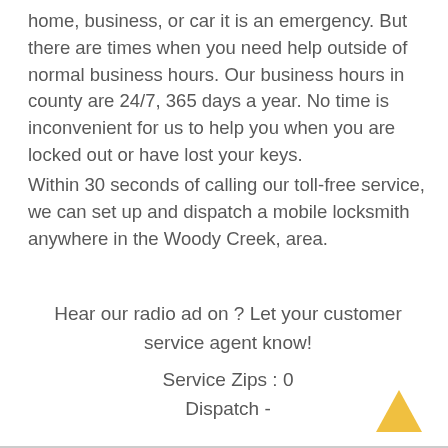home, business, or car it is an emergency. But there are times when you need help outside of normal business hours. Our business hours in county are 24/7, 365 days a year. No time is inconvenient for us to help you when you are locked out or have lost your keys.
Within 30 seconds of calling our toll-free service, we can set up and dispatch a mobile locksmith anywhere in the Woody Creek, area.
Hear our radio ad on ? Let your customer service agent know!
Service Zips : 0
Dispatch -
[Figure (illustration): An upward-pointing arrow icon in gold/yellow color, located in the bottom-right corner of the page.]